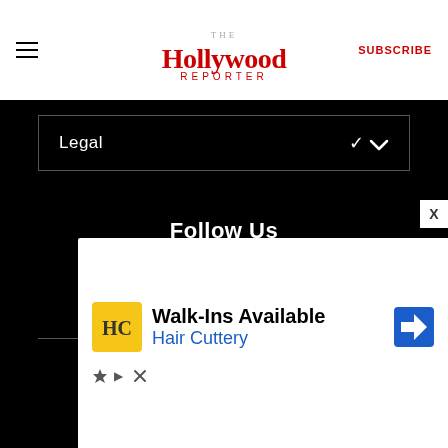The Hollywood Reporter — SUBSCRIBE
Legal
Follow Us
[Figure (other): Social media icons: Facebook, Twitter, Instagram, YouTube]
Have a Tip?
Send us a tip using our anonymous form.
[Figure (other): Advertisement: Walk-Ins Available – Hair Cuttery, with HC logo and navigation arrow icon]